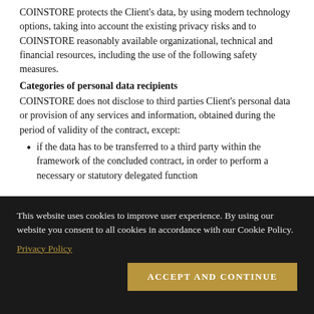COINSTORE protects the Client's data, by using modern technology options, taking into account the existing privacy risks and to COINSTORE reasonably available organizational, technical and financial resources, including the use of the following safety measures.
Categories of personal data recipients
COINSTORE does not disclose to third parties Client's personal data or provision of any services and information, obtained during the period of validity of the contract, except:
if the data has to be transferred to a third party within the framework of the concluded contract, in order to perform a necessary or statutory delegated function
This website uses cookies to improve user experience. By using our website you consent to all cookies in accordance with our Cookie Policy.
Privacy Policy
ACCEPT AND CONTINUE